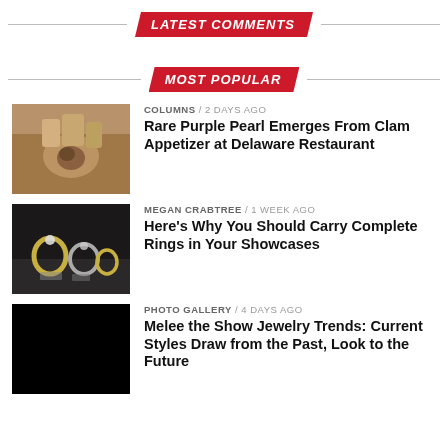LATEST COMMENTS
MOST POPULAR
[Figure (photo): Close-up photo of a clam shell being held, showing pearl inside, warm brown tones]
COLUMNS / 2 days ago
Rare Purple Pearl Emerges From Clam Appetizer at Delaware Restaurant
[Figure (photo): Photo of diamond rings in jewelry showcases on dark background]
MEGAN CRABTREE / 1 week ago
Here's Why You Should Carry Complete Rings in Your Showcases
[Figure (photo): Mostly black/dark photo, photo gallery thumbnail]
PHOTO GALLERY / 4 days ago
Melee the Show Jewelry Trends: Current Styles Draw from the Past, Look to the Future